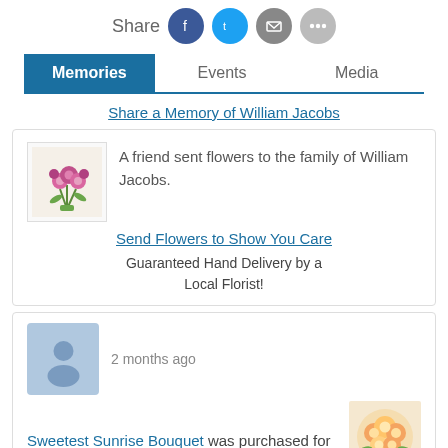[Figure (other): Share social media icons: Facebook (blue), Twitter (light blue), Email (gray), other (gray)]
Memories | Events | Media (tab navigation, Memories active)
Share a Memory of William Jacobs
[Figure (illustration): Flower bouquet image (pink/purple tulips)]
A friend sent flowers to the family of William Jacobs.
Send Flowers to Show You Care
Guaranteed Hand Delivery by a Local Florist!
[Figure (illustration): Gray avatar/person placeholder icon]
2 months ago
Sweetest Sunrise Bouquet was purchased for the family of William Jacobs
[Figure (photo): Bouquet of peach/yellow flowers (Sweetest Sunrise Bouquet)]